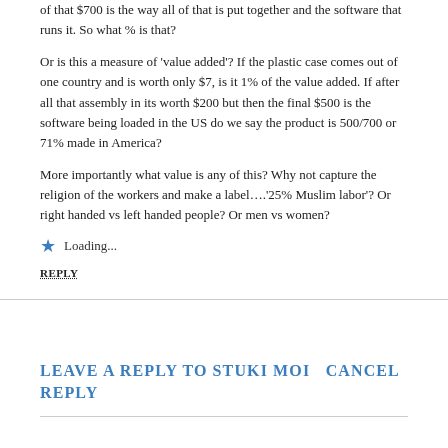of that $700 is the way all of that is put together and the software that runs it. So what % is that?
Or is this a measure of ‘value added’? If the plastic case comes out of one country and is worth only $7, is it 1% of the value added. If after all that assembly in its worth $200 but then the final $500 is the software being loaded in the US do we say the product is 500/700 or 71% made in America?
More importantly what value is any of this? Why not capture the religion of the workers and make a label….‘25% Muslim labor’? Or right handed vs left handed people? Or men vs women?
★ Loading...
REPLY
LEAVE A REPLY TO STUKI MOI   CANCEL REPLY